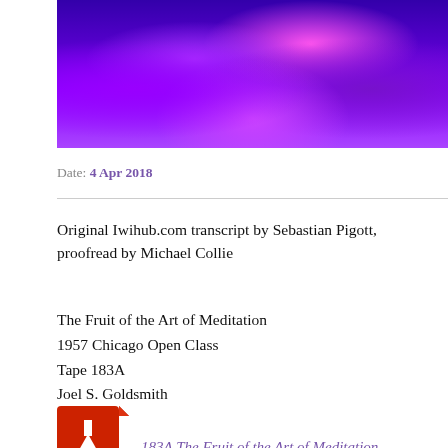[Figure (photo): Close-up photo of blue and purple tulip flowers with vivid neon-like coloring]
Date: 4 Apr 2018
Original Iwihub.com transcript by Sebastian Pigott, proofread by Michael Collie
The Fruit of the Art of Meditation
1957 Chicago Open Class
Tape 183A
Joel S. Goldsmith
[Figure (illustration): Red PDF icon with white download arrow and PDF text]
183A The Fruit of the Art of Meditation